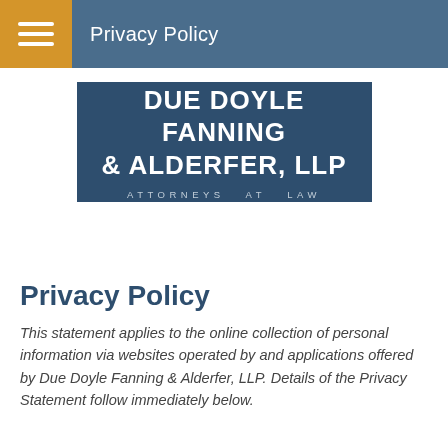Privacy Policy
[Figure (logo): Due Doyle Fanning & Alderfer, LLP — Attorneys at Law law firm logo, white text on dark navy blue background]
Privacy Policy
This statement applies to the online collection of personal information via websites operated by and applications offered by Due Doyle Fanning & Alderfer, LLP. Details of the Privacy Statement follow immediately below.